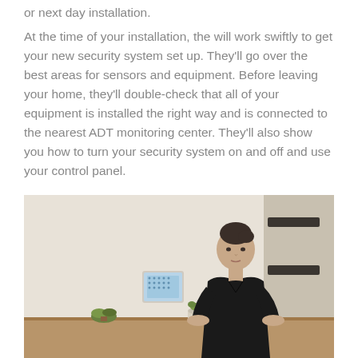or next day installation.
At the time of your installation, the will work swiftly to get your new security system set up. They'll go over the best areas for sensors and equipment. Before leaving your home, they'll double-check that all of your equipment is installed the right way and is connected to the nearest ADT monitoring center. They'll also show you how to turn your security system on and off and use your control panel.
[Figure (photo): A woman in a black top leaning on a wooden table in a modern home interior. On the wall behind her is an ADT security control panel touchscreen. There are small potted plants on the table and a staircase visible in the background.]